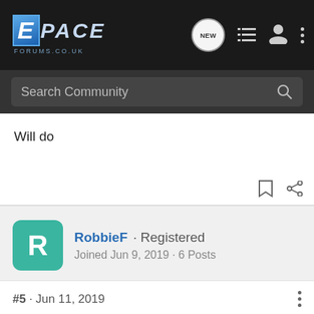EPACE FORUMS.CO.UK — navigation bar with NEW, list, user, and menu icons
Search Community
Will do
RobbieF · Registered
Joined Jun 9, 2019 · 6 Posts
#5 · Jun 11, 2019